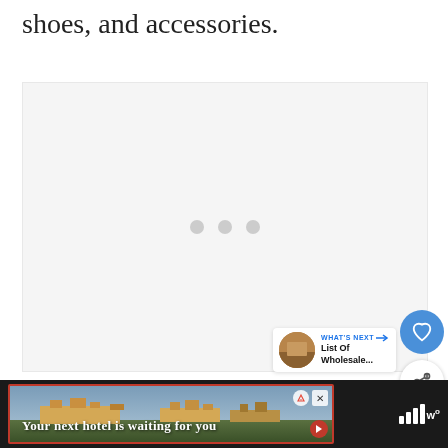shoes, and accessories.
[Figure (photo): Large image area placeholder with three dots loading indicator, light gray background]
[Figure (infographic): What's Next card showing: 'WHAT'S NEXT → List Of Wholesale...' with thumbnail image]
[Figure (screenshot): Ad banner at bottom: 'Your next hotel is waiting for you' over a landscape photo with hotel/palace in background, with play and close buttons, dark bar with weather widget showing bars and temperature symbol]